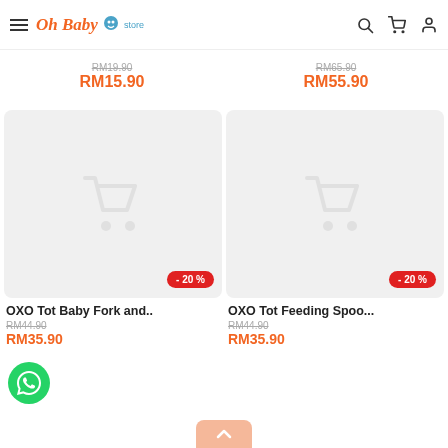Oh Baby Store - navigation header with hamburger menu, logo, search, cart, and account icons
RM19.90 (strikethrough) | RM15.90 (orange) — left product; RM65.90 (strikethrough) | RM55.90 (orange) — right product
[Figure (screenshot): Product card for OXO Tot Baby Fork and... showing placeholder shopping cart image, -20% red badge, old price RM44.90 strikethrough, new price RM35.90 in orange]
[Figure (screenshot): Product card for OXO Tot Feeding Spoo... showing placeholder shopping cart image, -20% red badge, old price RM44.90 strikethrough, new price RM35.90 in orange]